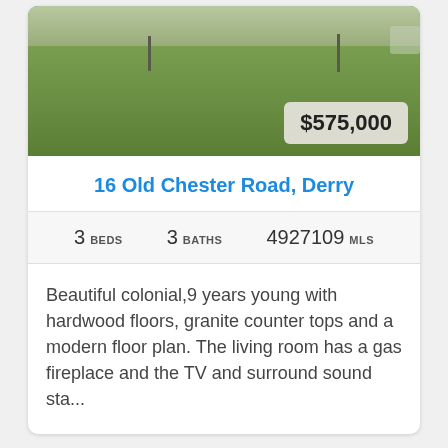[Figure (photo): Aerial or front yard photo of property with green grass lawn, price badge showing $575,000]
16 Old Chester Road, Derry
3 BEDS   3 BATHS   4927109 MLS
Beautiful colonial,9 years young with hardwood floors, granite counter tops and a modern floor plan. The living room has a gas fireplace and the TV and surround sound sta...
[Figure (photo): Exterior photo of another property, showing trees and blue sky]